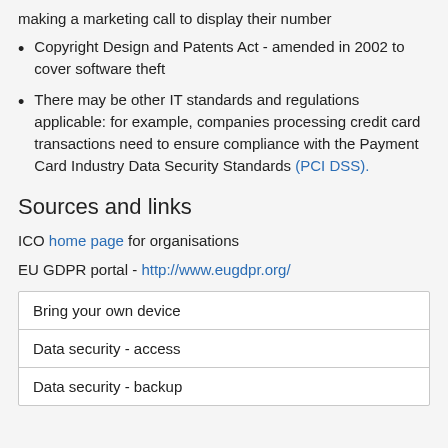making a marketing call to display their number
Copyright Design and Patents Act - amended in 2002 to cover software theft
There may be other IT standards and regulations applicable: for example, companies processing credit card transactions need to ensure compliance with the Payment Card Industry Data Security Standards (PCI DSS).
Sources and links
ICO home page for organisations
EU GDPR portal - http://www.eugdpr.org/
| Bring your own device |
| Data security - access |
| Data security - backup |